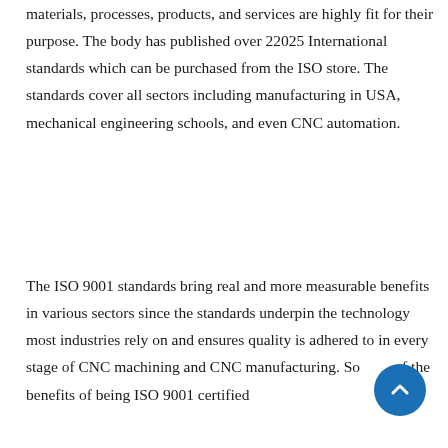materials, processes, products, and services are highly fit for their purpose. The body has published over 22025 International standards which can be purchased from the ISO store. The standards cover all sectors including manufacturing in USA, mechanical engineering schools, and even CNC automation.
The ISO 9001 standards bring real and more measurable benefits in various sectors since the standards underpin the technology most industries rely on and ensures quality is adhered to in every stage of CNC machining and CNC manufacturing. Some of the benefits of being ISO 9001 certified